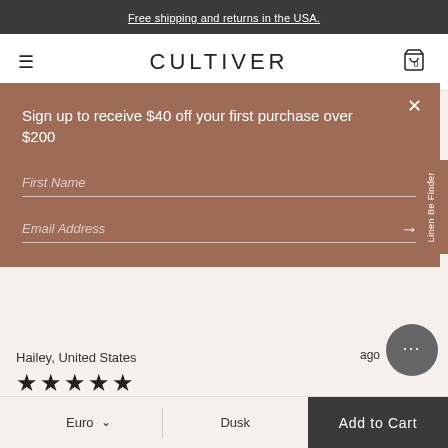Free shipping and returns in the USA.
CULTIVER
Sign up to receive $40 off your first purchase over $200
First Name
Email Address
Hailey, United States
★★★★★
Perfect color match to a duvet I'd bought a year ago!!
Was this review helpful? Yes Report Share
ago
Euro  Dusk  Add to Cart